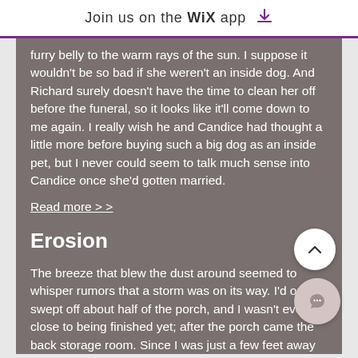Join us on the WiX app
furry belly to the warm rays of the sun. I suppose it wouldn't be so bad if she weren't an inside dog. And Richard surely doesn't have the time to clean her off before the funeral, so it looks like it'll come down to me again. I really wish he and Candice had thought a little more before buying such a big dog as an inside pet, but I never could seem to talk much sense into Candice once she'd gotten married.
Read more > >
Erosion
The breeze that blew the dust around seemed to whisper rumors that a storm was on its way. I'd only swept off about half of the porch, and I wasn't even close to being finished yet; after the porch came the back storage room. Since I was just a few feet away from the door, and the